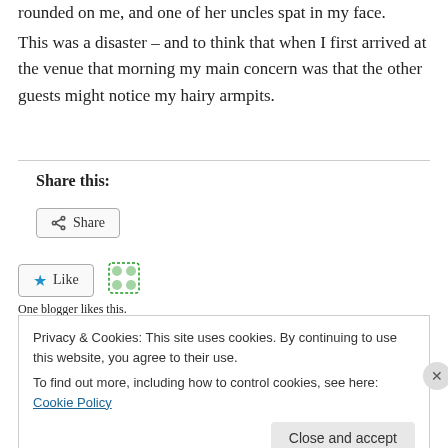rounded on me, and one of her uncles spat in my face.
This was a disaster – and to think that when I first arrived at the venue that morning my main concern was that the other guests might notice my hairy armpits.
Share this:
Share
Like
One blogger likes this.
Privacy & Cookies: This site uses cookies. By continuing to use this website, you agree to their use.
To find out more, including how to control cookies, see here: Cookie Policy
Close and accept